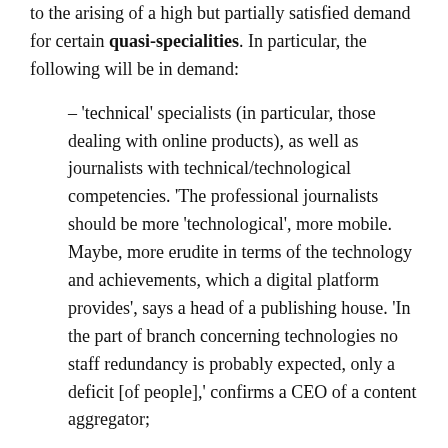to the arising of a high but partially satisfied demand for certain quasi-specialities. In particular, the following will be in demand:
– 'technical' specialists (in particular, those dealing with online products), as well as journalists with technical/technological competencies. 'The professional journalists should be more 'technological', more mobile. Maybe, more erudite in terms of the technology and achievements, which a digital platform provides', says a head of a publishing house. 'In the part of branch concerning technologies no staff redundancy is probably expected, only a deficit [of people],' confirms a CEO of a content aggregator;
– specialists in creating and promoting an integrated editorial content (productologists, marketers, content